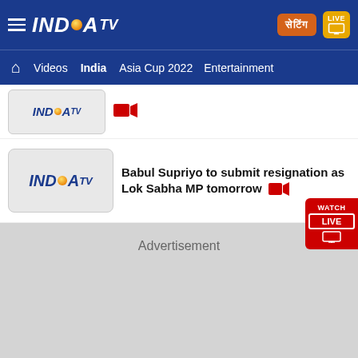INDIA TV - Header navigation bar with Videos, India, Asia Cup 2022, Entertainment
[Figure (logo): India TV logo thumbnail in partial news item at top]
[Figure (logo): India TV logo thumbnail for news: Babul Supriyo to submit resignation as Lok Sabha MP tomorrow]
Babul Supriyo to submit resignation as Lok Sabha MP tomorrow
Advertisement